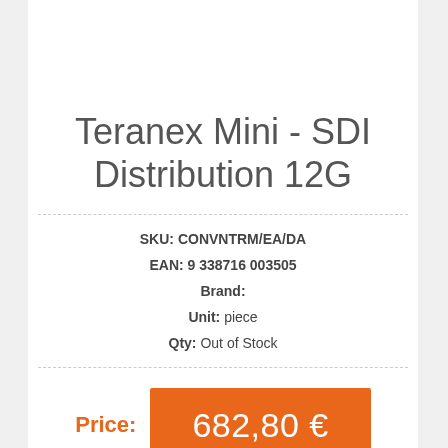Teranex Mini - SDI Distribution 12G
SKU: CONVNTRM/EA/DA
EAN: 9 338716 003505
Brand:
Unit: piece
Qty: Out of Stock
Price: 682,80 €
Qty.: 1